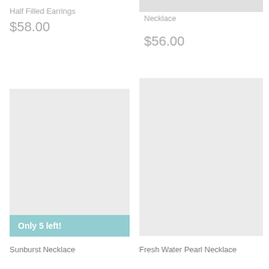Half Filled Earrings
$58.00
Round Double Sided Necklace
$56.00
[Figure (other): Product image placeholder (light gray rectangle) for Sunburst Necklace, with a teal/mint 'Only 5 left!' badge at the bottom]
Only 5 left!
[Figure (other): Product image placeholder (light gray rectangle) for Fresh Water Pearl Necklace]
Sunburst Necklace
Fresh Water Pearl Necklace